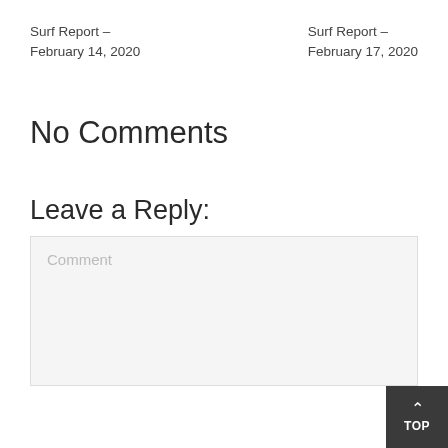Surf Report – February 14, 2020
Surf Report – February 17, 2020
No Comments
Leave a Reply:
Comment